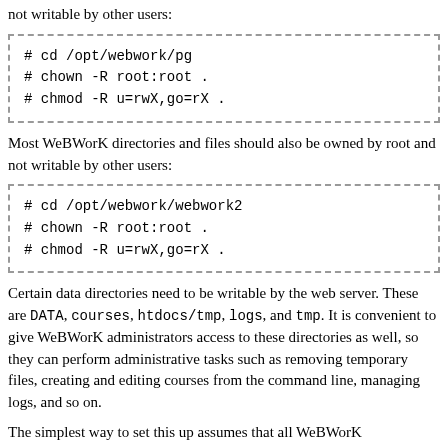not writable by other users:
# cd /opt/webwork/pg
# chown -R root:root .
# chmod -R u=rwX,go=rX .
Most WeBWorK directories and files should also be owned by root and not writable by other users:
# cd /opt/webwork/webwork2
# chown -R root:root .
# chmod -R u=rwX,go=rX .
Certain data directories need to be writable by the web server. These are DATA, courses, htdocs/tmp, logs, and tmp. It is convenient to give WeBWorK administrators access to these directories as well, so they can perform administrative tasks such as removing temporary files, creating and editing courses from the command line, managing logs, and so on.
The simplest way to set this up assumes that all WeBWorK administrators have root access. In this case, directories that must be